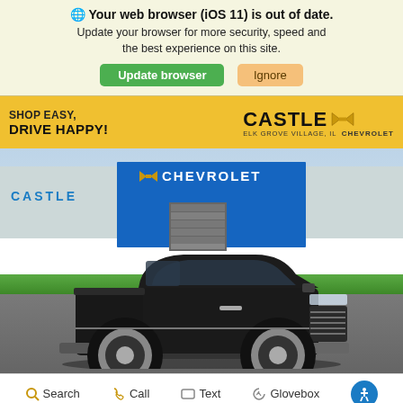🌐 Your web browser (iOS 11) is out of date. Update your browser for more security, speed and the best experience on this site.
Update browser | Ignore
[Figure (screenshot): Castle Chevrolet dealership header banner with yellow background, 'SHOP EASY, DRIVE HAPPY!' tagline on left and Castle Chevrolet logo with Elk Grove Village, IL text on right]
[Figure (photo): Black Chevrolet pickup truck (Silverado) parked in front of Castle Chevrolet dealership building with blue facade and Chevrolet signage]
Search  Call  Text  Glovebox